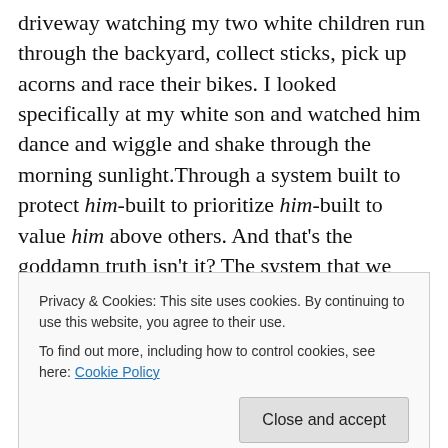driveway watching my two white children run through the backyard, collect sticks, pick up acorns and race their bikes. I looked specifically at my white son and watched him dance and wiggle and shake through the morning sunlight.Through a system built to protect him-built to prioritize him-built to value him above others. And that's the goddamn truth isn't it? The system that we operate in, values my son's life more than that of our neighbor's son who is black and the same age. I cried in the car while I watched him and then I felt guilty for crying because I'm not the one suffering. I'm the one with a son who the cops
Privacy & Cookies: This site uses cookies. By continuing to use this website, you agree to their use.
To find out more, including how to control cookies, see here: Cookie Policy
Close and accept
Fonts and some text visible at bottom of page